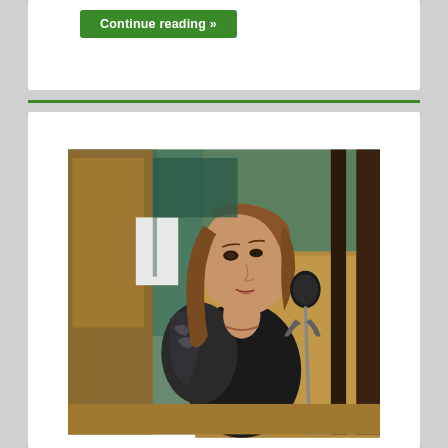Continue reading »
[Figure (photo): A woman with long brown hair speaking at a podium/lectern with a microphone in front of her. She is wearing a black top with a floral-patterned jacket. The setting appears to be a public meeting room or council chamber with wood-paneled furniture in the background.]